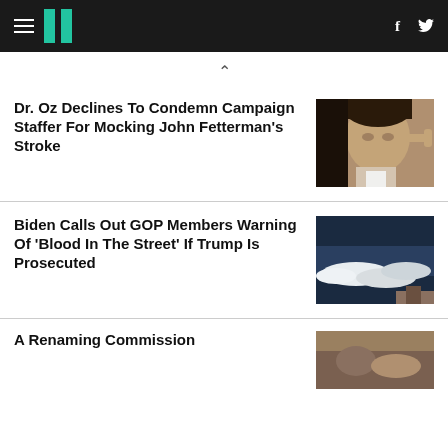HuffPost navigation header with hamburger menu, logo, Facebook and Twitter icons
^
Dr. Oz Declines To Condemn Campaign Staffer For Mocking John Fetterman's Stroke
[Figure (photo): Close-up photo of Dr. Oz pointing finger, dark hair, wearing suit]
Biden Calls Out GOP Members Warning Of 'Blood In The Street' If Trump Is Prosecuted
[Figure (photo): Dark stormy sky with clouds, likely showing an aircraft or flag in corner]
A Renaming Commission